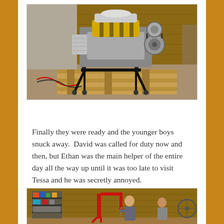[Figure (photo): A car engine mounted on a stand/pallet on a wooden pallet in what appears to be a garage or workshop. The engine has yellow and black components with chrome/aluminum parts visible.]
Finally they were ready and the younger boys snuck away.  David was called for duty now and then, but Ethan was the main helper of the entire day all the way up until it was too late to visit Tessa and he was secretly annoyed.
[Figure (photo): Two people (a younger man and an older man) in a wooden garage/barn with a red engine hoist/cherry picker. Tools and equipment visible on shelving in the background.]